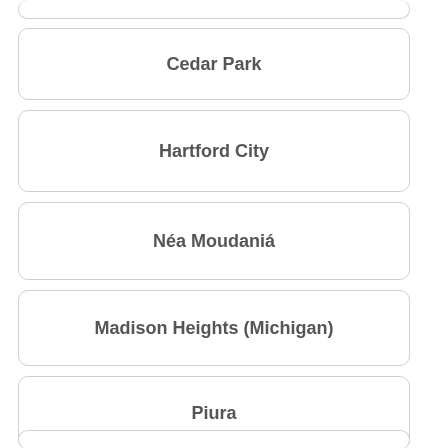Cedar Park
Hartford City
Néa Moudaniá
Madison Heights (Michigan)
Piura
Brāhmanbāria